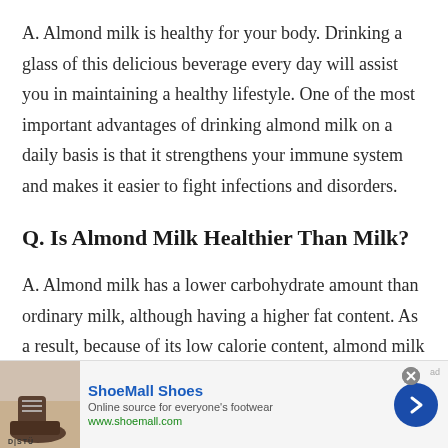A. Almond milk is healthy for your body. Drinking a glass of this delicious beverage every day will assist you in maintaining a healthy lifestyle. One of the most important advantages of drinking almond milk on a daily basis is that it strengthens your immune system and makes it easier to fight infections and disorders.
Q. Is Almond Milk Healthier Than Milk?
A. Almond milk has a lower carbohydrate amount than ordinary milk, although having a higher fat content. As a result, because of its low calorie content, almond milk is
[Figure (other): Advertisement banner for ShoeMall Shoes showing a boot image, brand logo D|STÜ, tagline 'Online source for everyone's footwear', website www.shoemall.com, and a blue circular arrow button]